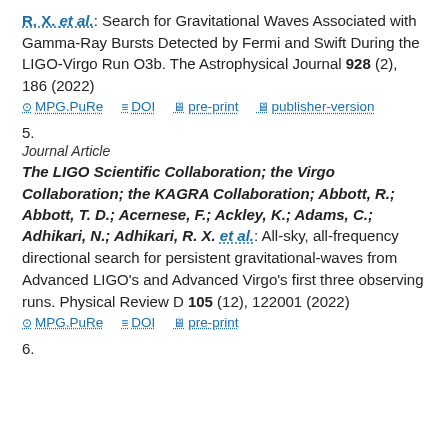R. X. et al.: Search for Gravitational Waves Associated with Gamma-Ray Bursts Detected by Fermi and Swift During the LIGO-Virgo Run O3b. The Astrophysical Journal 928 (2), 186 (2022)
MPG.PuRe   DOI   pre-print   publisher-version
5.
Journal Article
The LIGO Scientific Collaboration; the Virgo Collaboration; the KAGRA Collaboration; Abbott, R.; Abbott, T. D.; Acernese, F.; Ackley, K.; Adams, C.; Adhikari, N.; Adhikari, R. X. et al.: All-sky, all-frequency directional search for persistent gravitational-waves from Advanced LIGO's and Advanced Virgo's first three observing runs. Physical Review D 105 (12), 122001 (2022)
MPG.PuRe   DOI   pre-print
6.